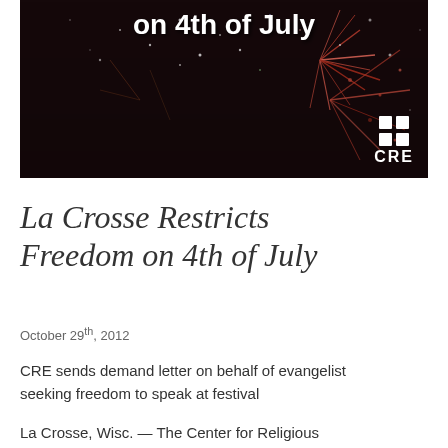[Figure (photo): Dark fireworks photo with white bold text reading 'on 4th of July' and CRE logo in bottom right corner]
La Crosse Restricts Freedom on 4th of July
October 29th, 2012
CRE sends demand letter on behalf of evangelist seeking freedom to speak at festival
La Crosse, Wisc. — The Center for Religious Expression sent a letter today to various city officials in La Crosse, discouraging canceling relief f